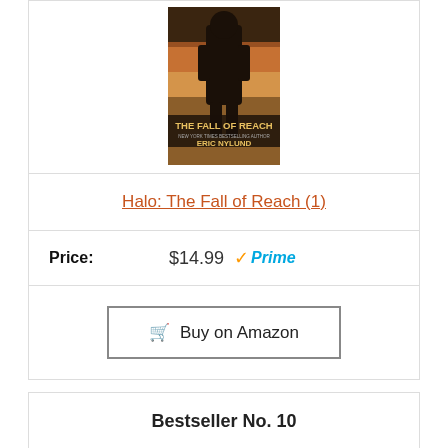[Figure (photo): Book cover for Halo: The Fall of Reach by Eric Nylund]
Halo: The Fall of Reach (1)
Price: $14.99 Prime
Buy on Amazon
Bestseller No. 10
[Figure (photo): Controller thumbstick replacement kit with red and black thumbsticks and screwdrivers]